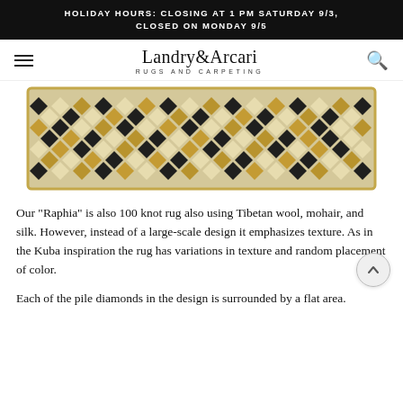HOLIDAY HOURS: CLOSING AT 1 PM SATURDAY 9/3, CLOSED ON MONDAY 9/5
[Figure (logo): Landry & Arcari Rugs and Carpeting logo with hamburger menu icon on left and search icon on right]
[Figure (photo): A runner rug with a diamond pattern using black, gold/amber, and cream/ivory colors arranged in rows of alternating diamonds with a flat weave ground and pile diamonds]
Our "Raphia" is also 100 knot rug also using Tibetan wool, mohair, and silk. However, instead of a large-scale design it emphasizes texture. As in the Kuba inspiration the rug has variations in texture and random placement of color.
Each of the pile diamonds in the design is surrounded by a flat area.